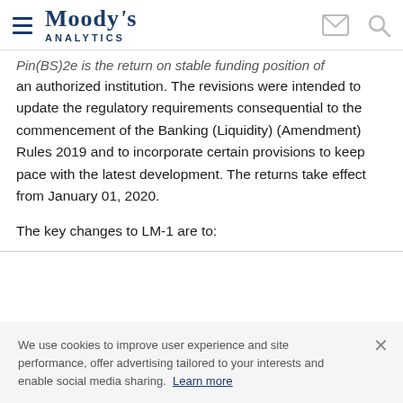Moody's Analytics
Pin(BS)2e is the return on stable funding position of an authorized institution. The revisions were intended to update the regulatory requirements consequential to the commencement of the Banking (Liquidity) (Amendment) Rules 2019 and to incorporate certain provisions to keep pace with the latest development. The returns take effect from January 01, 2020.
The key changes to LM-1 are to:
We use cookies to improve user experience and site performance, offer advertising tailored to your interests and enable social media sharing. Learn more